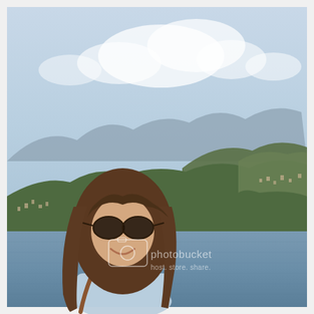[Figure (photo): A young woman with long brown hair and dark sunglasses smiles at the camera. She is wearing a light blue top and has a brown bag strap visible on her shoulder. Behind her is a large lake (likely Lake Como, Italy) with green forested mountains and small hillside towns in the background, under a hazy blue sky with white clouds. A Photobucket watermark is overlaid on the center of the image.]